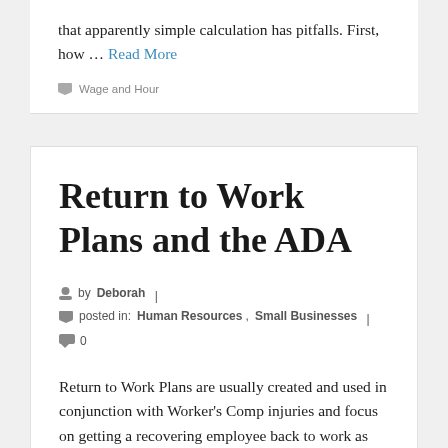that apparently simple calculation has pitfalls. First, how … Read More
Wage and Hour
Return to Work Plans and the ADA
by Deborah | posted in: Human Resources, Small Businesses | 0
Return to Work Plans are usually created and used in conjunction with Worker's Comp injuries and focus on getting a recovering employee back to work as soon as practical. But they can end up connected to ADA issues following